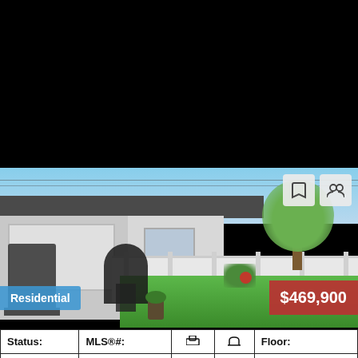[Figure (photo): Backyard photo of a residential bungalow with white vinyl fence, green lawn, patio chairs, BBQ grill, and a tree. Sky visible in background.]
Residential
$469,900
| Status: | MLS®#: | 🛏 | 🛁 | Floor: |
| --- | --- | --- | --- | --- |
| Pending | A1222373 | 5 | 2 | 1,216 sq. ft. |
Offered for sale by the owner of 38 years, this solid & incredibly well maintained bungalow boasts 2,431 square feet of developed living space on
DETAILS
MORE